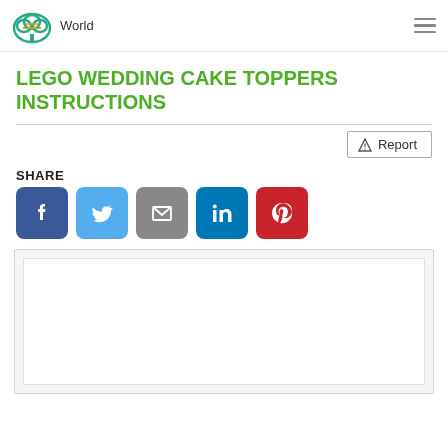World
LEGO WEDDING CAKE TOPPERS INSTRUCTIONS
Report
SHARE
[Figure (screenshot): Social sharing buttons: Facebook (blue), Twitter (light blue), Email (gray), LinkedIn (dark blue), Pinterest (red)]
[Figure (screenshot): Embedded white content area within a light gray bordered box]